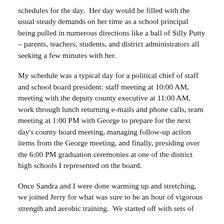schedules for the day. Her day would be filled with the usual steady demands on her time as a school principal being pulled in numerous directions like a ball of Silly Putty – parents, teachers, students, and district administrators all seeking a few minutes with her.
My schedule was a typical day for a political chief of staff and school board president: staff meeting at 10:00 AM, meeting with the deputy county executive at 11:00 AM, work through lunch returning e-mails and phone calls, team meeting at 1:00 PM with George to prepare for the next day's county board meeting, managing follow-up action items from the George meeting, and finally, presiding over the 6:00 PM graduation ceremonies at one of the district high schools I represented on the board.
Once Sandra and I were done warming up and stretching, we joined Jerry for what was sure to be an hour of vigorous strength and aerobic training. We started off with sets of